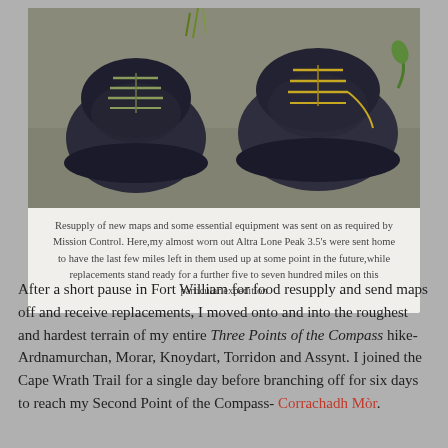[Figure (photo): Two pairs of hiking shoes (Altra Lone Peak 3.5) photographed from above on a concrete/asphalt surface, one worn pair and one newer replacement pair.]
Resupply of new maps and some essential equipment was sent on as required by Mission Control. Here, my almost worn out Altra Lone Peak 3.5's were sent home to have the last few miles left in them used up at some point in the future, while replacements stand ready for a further five to seven hundred miles on this particular expedition
After a short pause in Fort William for food resupply and send maps off and receive replacements, I moved onto and into the roughest and hardest terrain of my entire Three Points of the Compass hike- Ardnamurchan, Morar, Knoydart, Torridon and Assynt. I joined the Cape Wrath Trail for a single day before branching off for six days to reach my Second Point of the Compass- Corrachadh Mòr.